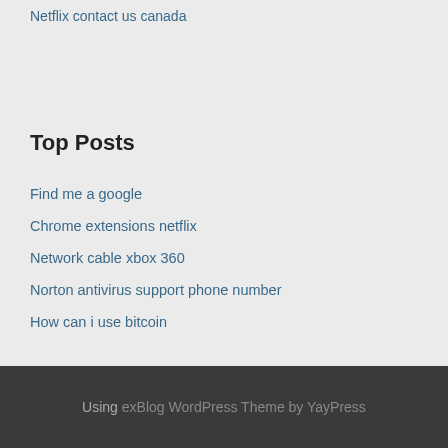Netflix contact us canada
Top Posts
Find me a google
Chrome extensions netflix
Network cable xbox 360
Norton antivirus support phone number
How can i use bitcoin
Using exBlog WordPress Theme by YayPress